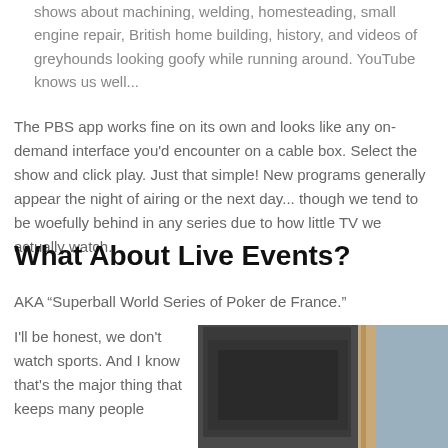shows about machining, welding, homesteading, small engine repair, British home building, history, and videos of greyhounds looking goofy while running around. YouTube knows us well...
The PBS app works fine on its own and looks like any on-demand interface you'd encounter on a cable box. Select the show and click play. Just that simple! New programs generally appear the night of airing or the next day... though we tend to be woefully behind in any series due to how little TV we actually watch.
What About Live Events?
AKA “Superball World Series of Poker de France.”
I'll be honest, we don't watch sports. And I know that's the major thing that keeps many people
[Figure (photo): A photograph showing what appears to be a TV or monitor screen edge, with a wooden frame visible and a blue/grey background wall.]